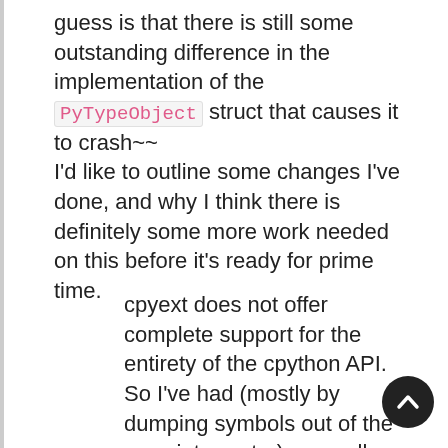guess is that there is still some outstanding difference in the implementation of the PyTypeObject struct that causes it to crash~~ I'd like to outline some changes I've done, and why I think there is definitely some more work needed on this before it's ready for prime time.
cpyext does not offer complete support for the entirety of the cpython API. So I've had (mostly by dumping symbols out of the pypy interpreter) manually add the parts of it that it implements with annotations like this: #